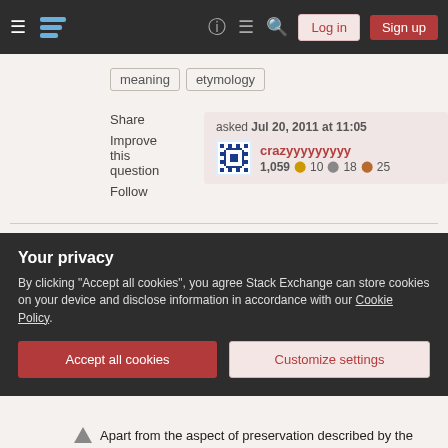Stack Exchange navigation bar with Log in and Sign up buttons
meaning
etymology
Share
Improve this question
Follow
asked Jul 20, 2011 at 11:05
crazyyyyyyyyy
1,059  10  18  25
1  Unless this is a regional thing, this is not a common expression in English (at least, I've never heard it) - rather, it's a very clever metaphor.
– BlueRaja - Danny Pflughoeft  Jul 21, 2011 at 3:23
Your privacy
By clicking "Accept all cookies", you agree Stack Exchange can store cookies on your device and disclose information in accordance with our Cookie Policy.
Accept all cookies
Customize settings
Apart from the aspect of preservation described by the